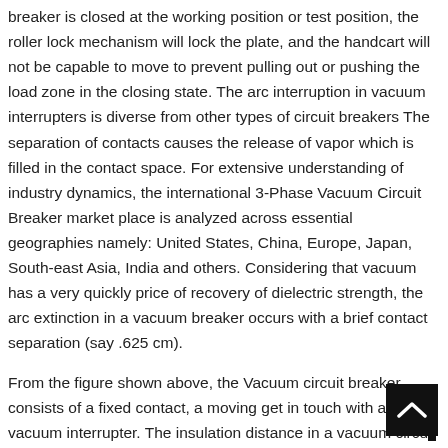breaker is closed at the working position or test position, the roller lock mechanism will lock the plate, and the handcart will not be capable to move to prevent pulling out or pushing the load zone in the closing state. The arc interruption in vacuum interrupters is diverse from other types of circuit breakers The separation of contacts causes the release of vapor which is filled in the contact space. For extensive understanding of industry dynamics, the international 3-Phase Vacuum Circuit Breaker market place is analyzed across essential geographies namely: United States, China, Europe, Japan, South-east Asia, India and others. Considering that vacuum has a very quickly price of recovery of dielectric strength, the arc extinction in a vacuum breaker occurs with a brief contact separation (say .625 cm).
From the figure shown above, the Vacuum circuit breaker consists of a fixed contact, a moving get in touch with and vacuum interrupter. The insulation distance in a vacuum circuit